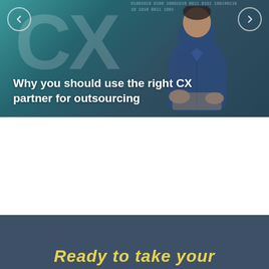[Figure (screenshot): Promotional banner image with teal/dark blue gradient background, large semi-transparent 'CX' letters, a person in a blue shirt in the right portion, binary/code text overlay at top, navigation arrows on left and right, and white text title overlay at bottom reading 'Why you should use the right CX partner for outsourcing']
Why you should use the right CX partner for outsourcing
Ready to take your